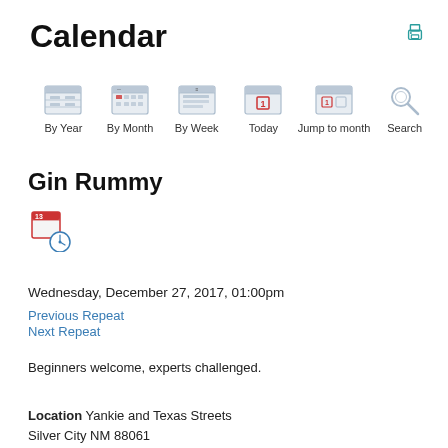Calendar
[Figure (other): Print icon (printer symbol) in teal/blue color, top-right corner]
[Figure (infographic): Calendar navigation bar with six icon+label items: By Year, By Month, By Week, Today, Jump to month, Search. Each item shows a small calendar-style icon above its label.]
Gin Rummy
[Figure (other): Calendar event icon showing a calendar page with a red clock/alarm overlay]
Wednesday, December 27, 2017, 01:00pm
Previous Repeat
Next Repeat
Beginners welcome, experts challenged.
Location Yankie and Texas Streets
Silver City NM 88061